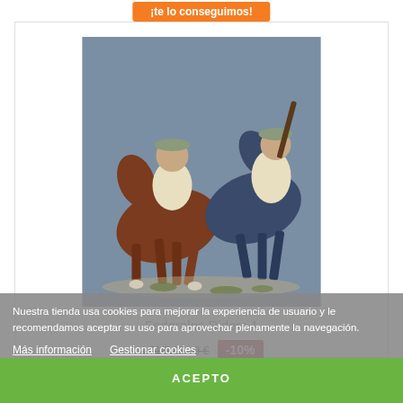¡te lo conseguimos!
[Figure (photo): Two painted miniature cavalry figures on horses against a blue-grey background. Left figure rides a brown horse, right figure rides a dark blue horse, both soldiers in light-coloured uniforms.]
Federales Riders 1
Nuestra tienda usa cookies para mejorar la experiencia de usuario y le recomendamos aceptar su uso para aprovechar plenamente la navegación.
Más información   Gestionar cookies
-10%
ACEPTO